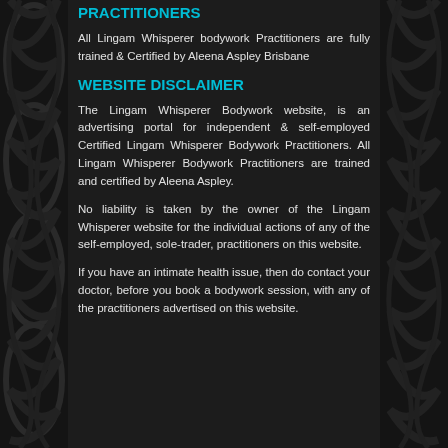PRACTITIONERS
All Lingam Whisperer bodywork Practitioners are fully trained & Certified by Aleena Aspley Brisbane
WEBSITE DISCLAIMER
The Lingam Whisperer Bodywork website, is an advertising portal for independent & self-employed Certified Lingam Whisperer Bodywork Practitioners. All Lingam Whisperer Bodywork Practitioners are trained and certified by Aleena Aspley.
No liability is taken by the owner of the Lingam Whisperer website for the individual actions of any of the self-employed, sole-trader, practitioners on this website.
If you have an intimate health issue, then do contact your doctor, before you book a bodywork session, with any of the practitioners advertised on this website.